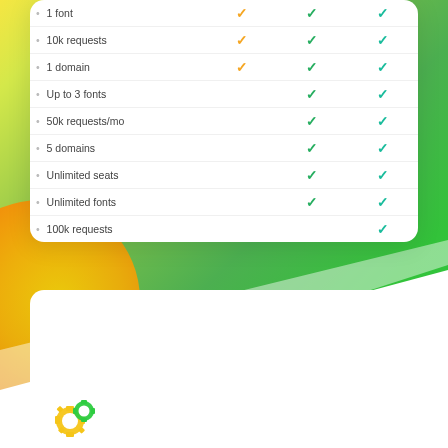| Feature | Plan 1 | Plan 2 | Plan 3 |
| --- | --- | --- | --- |
| 1 font | ✓ | ✓ | ✓ |
| 10k requests | ✓ | ✓ | ✓ |
| 1 domain | ✓ | ✓ | ✓ |
| Up to 3 fonts |  | ✓ | ✓ |
| 50k requests/mo |  | ✓ | ✓ |
| 5 domains |  | ✓ | ✓ |
| Unlimited seats |  | ✓ | ✓ |
| Unlimited fonts |  | ✓ | ✓ |
| 100k requests |  |  | ✓ |
[Figure (illustration): Green and yellow/orange gradient background with a white diagonal slice element and a white card section at the bottom. A gear/logo icon is visible at the bottom left.]